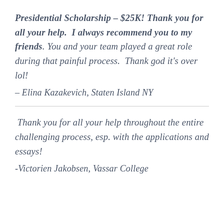Presidential Scholarship – $25K! Thank you for all your help.  I always recommend you to my friends. You and your team played a great role during that painful process.  Thank god it's over lol!
– Elina Kazakevich, Staten Island NY
Thank you for all your help throughout the entire challenging process, esp. with the applications and essays!
-Victorien Jakobsen, Vassar College